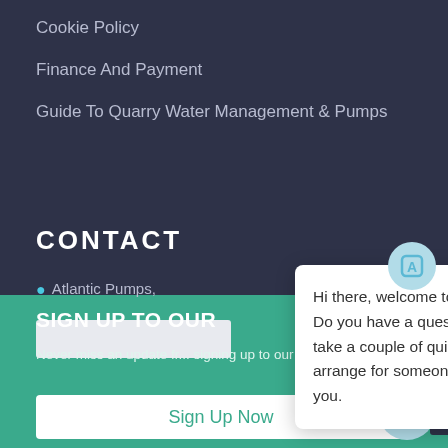Cookie Policy
Finance And Payment
Guide To Quarry Water Management & Pumps
CONTACT
Atlantic Pumps,
SIGN UP TO OUR
Never miss an update fr... signing up to our email newsletter.
Sign Up Now
[Figure (screenshot): Chat popup widget with message: Hi there, welcome to Atlantic Pumps. Do you have a question? If so, I can take a couple of quick details and arrange for someone to come back to you.]